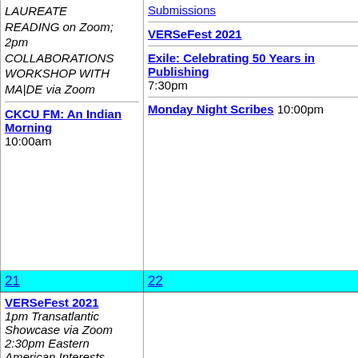| LAUREATE READING on Zoom; 2pm COLLABORATIONS WORKSHOP WITH MA|DE via Zoom

CKCU FM: An Indian Morning 10:00am | Submissions

VERSeFest 2021

Exile: Celebrating 50 Years in Publishing 7:30pm

Monday Night Scribes 10:00pm |
| 21 | 22 |
| VERSeFest 2021
1pm Transatlantic Showcase via Zoom
2:30pm Eastern American Interests |  |